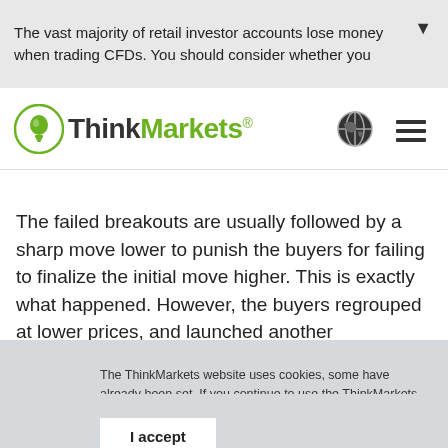The vast majority of retail investor accounts lose money when trading CFDs. You should consider whether you
[Figure (logo): ThinkMarkets logo with green circle lightbulb icon and ThinkMarkets text]
The failed breakouts are usually followed by a sharp move lower to punish the buyers for failing to finalize the initial move higher. This is exactly what happened. However, the buyers regrouped at lower prices, and launched another
The ThinkMarkets website uses cookies, some have already been set. If you continue to use the ThinkMarkets website, we will assume you are happy to accept our cookies.
I accept